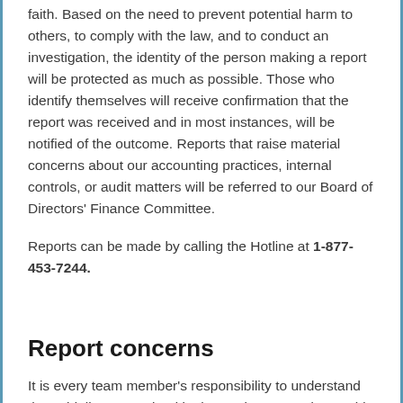faith. Based on the need to prevent potential harm to others, to comply with the law, and to conduct an investigation, the identity of the person making a report will be protected as much as possible. Those who identify themselves will receive confirmation that the report was received and in most instances, will be notified of the outcome. Reports that raise material concerns about our accounting practices, internal controls, or audit matters will be referred to our Board of Directors' Finance Committee.
Reports can be made by calling the Hotline at 1-877-453-7244.
Report concerns
It is every team member's responsibility to understand the guidelines contained in the Business Conduct Guide